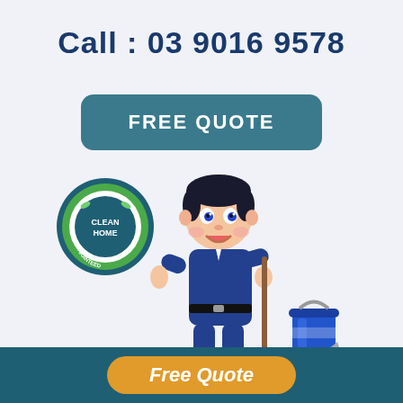Call : 03 9016 9578
FREE QUOTE
[Figure (illustration): Cartoon illustration of a smiling cleaner boy in blue overalls holding a mop next to a bucket, with a satisfaction guaranteed Clean Home stamp/badge in the upper left]
Free Quote